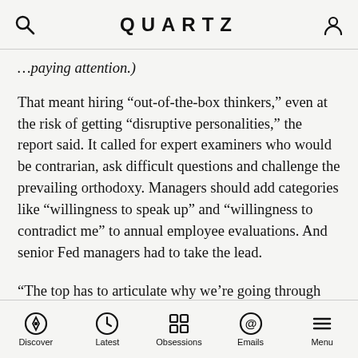QUARTZ
…paying attention.)
That meant hiring “out-of-the-box thinkers,” even at the risk of getting “disruptive personalities,” the report said. It called for expert examiners who would be contrarian, ask difficult questions and challenge the prevailing orthodoxy. Managers should add categories like “willingness to speak up” and “willingness to contradict me” to annual employee evaluations. And senior Fed managers had to take the lead.
“The top has to articulate why we’re going through this change, what the benefits are going to be and why it’s so important that we’re going to monitor everyone and make sure they stay on board,” Beim said in an interview.
Discover Latest Obsessions Emails Menu